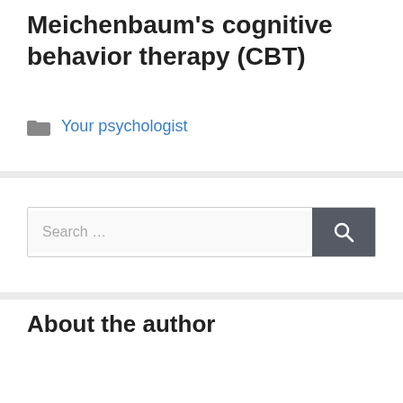Meichenbaum's cognitive behavior therapy (CBT)
Your psychologist
[Figure (screenshot): Search bar with text 'Search …' and a dark gray search button with a magnifying glass icon]
About the author